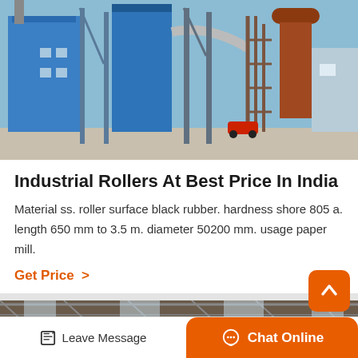[Figure (photo): Industrial factory scene with large blue silos, metal scaffolding, pipes, a tall rusty structure, and a red car in the foreground under a blue sky.]
Industrial Rollers At Best Price In India
Material ss. roller surface black rubber. hardness shore 805 a. length 650 mm to 3.5 m. diameter 50200 mm. usage paper mill.
Get Price >
[Figure (photo): Interior of an industrial facility showing rollers and overhead structures.]
Leave Message   Chat Online